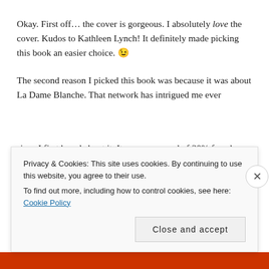Okay. First off… the cover is gorgeous. I absolutely love the cover. Kudos to Kathleen Lynch! It definitely made picking this book an easier choice. 😉
The second reason I picked this book was because it was about La Dame Blanche. That network has intrigued me ever since I first heard about it. It was composed of 30% female…
Privacy & Cookies: This site uses cookies. By continuing to use this website, you agree to their use. To find out more, including how to control cookies, see here: Cookie Policy
Close and accept